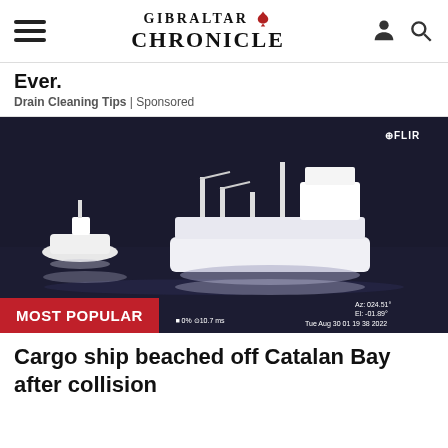Gibraltar Chronicle
Ever.
Drain Cleaning Tips | Sponsored
[Figure (photo): Thermal FLIR night-vision image showing two vessels at sea — a smaller boat to the left and a large cargo ship to the right. A red 'MOST POPULAR' badge overlays the bottom-left corner. Overlay text shows azimuth/elevation data and timestamp 'Tue Aug 30 01 19 38 2022'.]
Cargo ship beached off Catalan Bay after collision